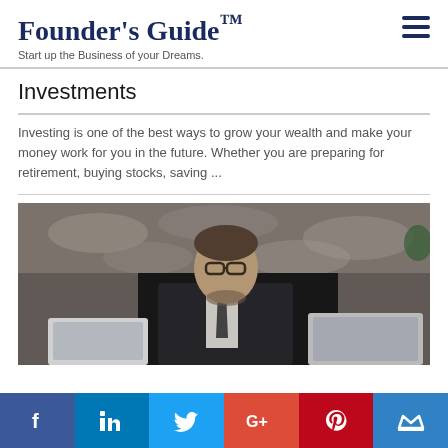Founder's Guide™ — Start up the Business of your Dreams.
Investments
Investing is one of the best ways to grow your wealth and make your money work for you in the future. Whether you are preparing for retirement, buying stocks, saving ...
[Figure (photo): A man in a suit and tie wearing glasses, sitting at a desk with a laptop in front of him and another laptop behind him, with a stone fireplace visible in the background.]
Social share bar: Facebook, LinkedIn, Twitter, Google+, Pinterest, Mightynetworks